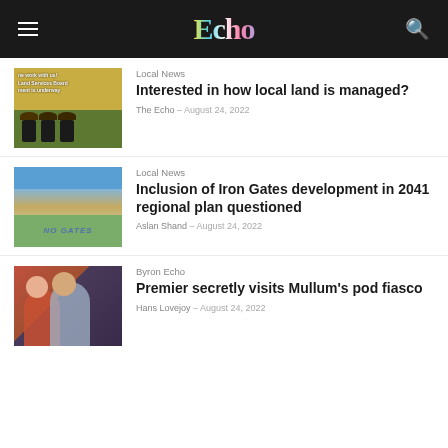Echo
Local News
Interested in how local land is managed?
The Echo – August 24, 2022
Local News
Inclusion of Iron Gates development in 2041 regional plan questioned
Aslan Shand – August 24, 2022
Byron Echo
Premier secretly visits Mullum's pod fiasco
Hans Lovejoy – August 24, 2022